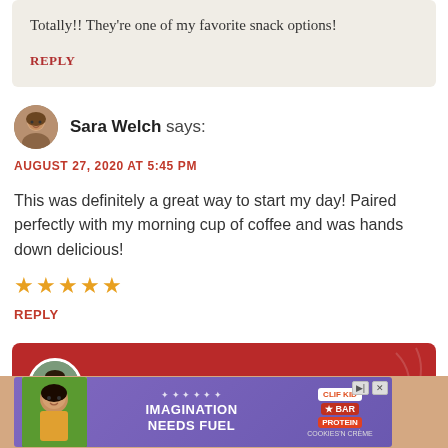Totally!! They’re one of my favorite snack options!
REPLY
Sara Welch says:
AUGUST 27, 2020 AT 5:45 PM
This was definitely a great way to start my day! Paired perfectly with my morning cup of coffee and was hands down delicious!
★★★★★
REPLY
Anjali Shah says:
[Figure (photo): Advertisement banner: girl with CLIF KID protein bar, purple background, text IMAGINATION NEEDS FUEL]